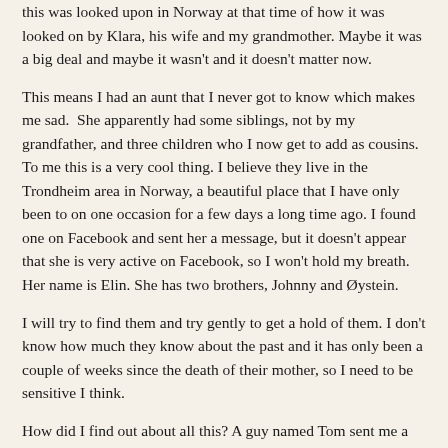this was looked upon in Norway at that time of how it was looked on by Klara, his wife and my grandmother. Maybe it was a big deal and maybe it wasn't and it doesn't matter now.
This means I had an aunt that I never got to know which makes me sad.  She apparently had some siblings, not by my grandfather, and three children who I now get to add as cousins. To me this is a very cool thing. I believe they live in the Trondheim area in Norway, a beautiful place that I have only been to on one occasion for a few days a long time ago. I found one on Facebook and sent her a message, but it doesn't appear that she is very active on Facebook, so I won't hold my breath. Her name is Elin. She has two brothers, Johnny and Øystein.
I will try to find them and try gently to get a hold of them. I don't know how much they know about the past and it has only been a couple of weeks since the death of their mother, so I need to be sensitive I think.
How did I find out about all this? A guy named Tom sent me a note through Ancestry.com telling me of the passing of the daughter of his wife's grandaunt, Hanna Maria. He apparently does some